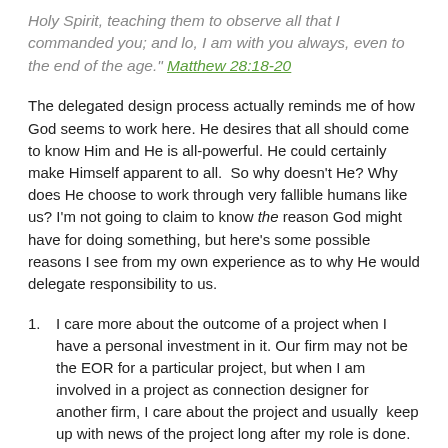Holy Spirit, teaching them to observe all that I commanded you; and lo, I am with you always, even to the end of the age." Matthew 28:18-20
The delegated design process actually reminds me of how God seems to work here. He desires that all should come to know Him and He is all-powerful. He could certainly make Himself apparent to all.  So why doesn't He? Why does He choose to work through very fallible humans like us? I'm not going to claim to know the reason God might have for doing something, but here's some possible reasons I see from my own experience as to why He would delegate responsibility to us.
I care more about the outcome of a project when I have a personal investment in it. Our firm may not be the EOR for a particular project, but when I am involved in a project as connection designer for another firm, I care about the project and usually  keep up with news of the project long after my role is done. It's not just another jobsite I drive